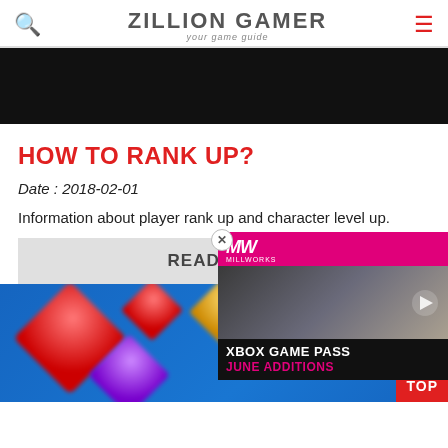ZILLION GAMER — your game guide
[Figure (photo): Dark hero image at top of page]
HOW TO RANK UP?
Date : 2018-02-01
Information about player rank up and character level up.
READ MORE
[Figure (photo): Blue background with colorful gem/diamond shapes (red, gold, purple). TOP button in bottom right corner. Advertisement overlay for Xbox Game Pass June Additions by Millworks.]